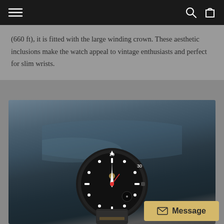Navigation bar with menu, search, and cart icons
(660 ft), it is fitted with the large winding crown. These aesthetic inclusions make the watch appeal to vintage enthusiasts and perfect for slim wrists.
[Figure (photo): A Tudor Black Bay dive watch with dark dial and bezel, resting on a strap, photographed against a blurred ocean background.]
Message